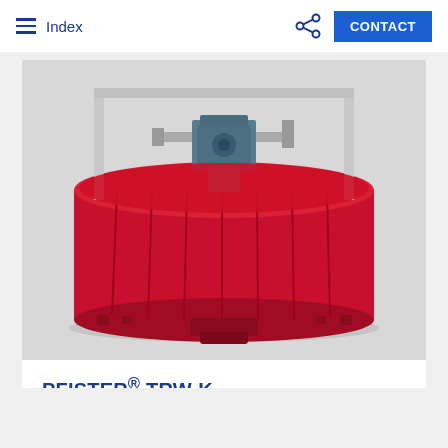Index | CONTACT
[Figure (photo): PFISTER TRW-K industrial rotor weighfeeder machine — a large circular red metal drum/housing with vertical ribs/panels around the circumference, mounted machinery with electric motor on top, industrial equipment on white background]
PFISTER® TRW-K